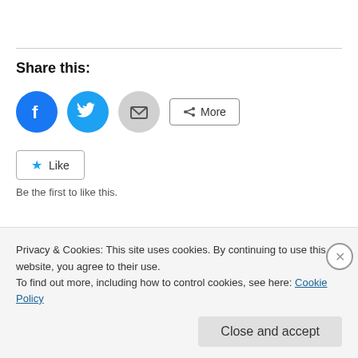Share this:
[Figure (infographic): Social share buttons: Facebook (blue circle), Twitter (blue circle), Email (gray circle), and a 'More' button with share icon]
[Figure (infographic): Like button with blue star icon and text 'Like', followed by text 'Be the first to like this.']
Be the first to like this.
Privacy & Cookies: This site uses cookies. By continuing to use this website, you agree to their use.
To find out more, including how to control cookies, see here: Cookie Policy